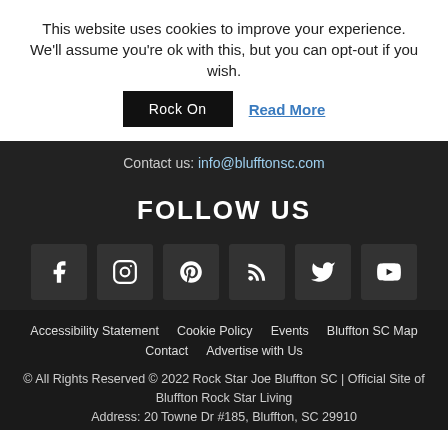This website uses cookies to improve your experience. We'll assume you're ok with this, but you can opt-out if you wish.
Rock On | Read More
Contact us: info@blufftonsc.com
FOLLOW US
[Figure (other): Row of 6 social media icons: Facebook, Instagram, Pinterest, RSS, Twitter, YouTube]
Accessibility Statement  Cookie Policy  Events  Bluffton SC Map  Contact  Advertise with Us
© All Rights Reserved © 2022 Rock Star Joe Bluffton SC | Official Site of Bluffton Rock Star Living
Address: 20 Towne Dr #185, Bluffton, SC 29910